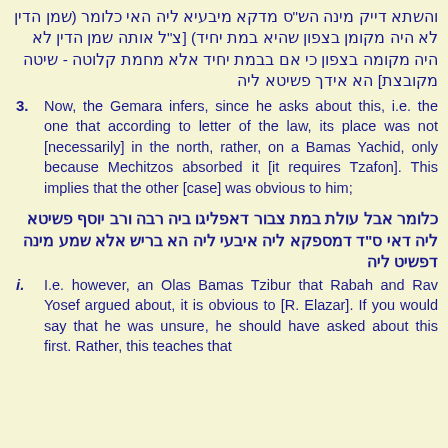והשתא דייק מינה הש"ס מדקא מיבעיא ליה האי כלומר (שמן הדין לא היה מקומן בצפון שהיא במת יחיד) [צ"ל אותה שמן הדין לא היה מקומה בצפון כי אם בבמת יחיד אלא מחמת קלוטה - שיטה מקובצת] הא אידך פשיטא ליה
3.  Now, the Gemara infers, since he asks about this, i.e. the one that according to letter of the law, its place was not [necessarily] in the north, rather, on a Bamas Yachid, only because Mechitzos absorbed it [it requires Tzafon]. This implies that the other [case] was obvious to him;
כלומר אבל עולת במת צבור דאפליגו ביה רבה ורב יוסף פשיטא ליה דאי ס"ד דמספקא ליה איבעי ליה הא בריש אלא שמע מינה דפשיט ליה
i.  I.e. however, an Olas Bamas Tzibur that Rabah and Rav Yosef argued about, it is obvious to [R. Elazar]. If you would say that he was unsure, he should have asked about this first. Rather, this teaches that